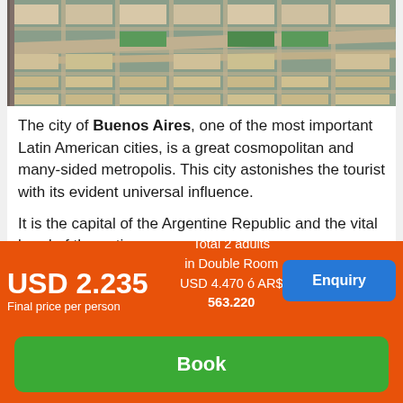[Figure (photo): Aerial view of Buenos Aires downtown showing wide avenues, city blocks, green parks, and dense urban buildings.]
The city of Buenos Aires, one of the most important Latin American cities, is a great cosmopolitan and many-sided metropolis. This city astonishes the tourist with its evident universal influence.
It is the capital of the Argentine Republic and the vital bond of the nation.
How to access?
To access to the downtown from the airport there is an
USD 2.235
Final price per person
Total 2 adults
in Double Room
USD 4.470 ó AR$
563.220
Enquiry
Book